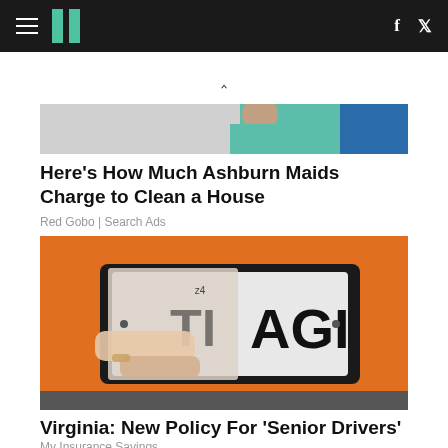HuffPost navigation with hamburger menu, logo, Facebook and Twitter icons
[Figure (photo): Partial view of a person wearing teal/green top, partially cropped image at top of page]
Here's How Much Ashburn Maids Charge to Clean a House
Red Gobo | Search Ads
[Figure (photo): Person holding a clear plastic cover/shield over a license plate on an orange vehicle, partially obscuring plate text showing 'AGI']
Virginia: New Policy For 'Senior Drivers'
My Insurance Savings